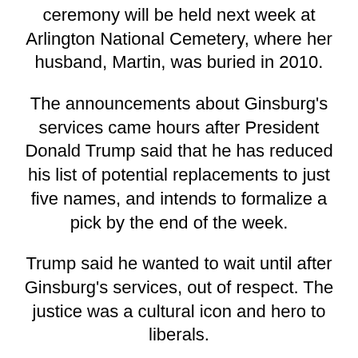ceremony will be held next week at Arlington National Cemetery, where her husband, Martin, was buried in 2010.
The announcements about Ginsburg's services came hours after President Donald Trump said that he has reduced his list of potential replacements to just five names, and intends to formalize a pick by the end of the week.
Trump said he wanted to wait until after Ginsburg's services, out of respect. The justice was a cultural icon and hero to liberals.
Ginsburg's death has prompted national mourning, alongside a fierce partisan